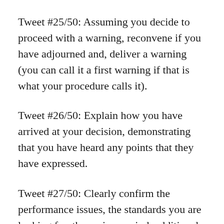Tweet #25/50: Assuming you decide to proceed with a warning, reconvene if you have adjourned and, deliver a warning (you can call it a first warning if that is what your procedure calls it).
Tweet #26/50: Explain how you have arrived at your decision, demonstrating that you have heard any points that they have expressed.
Tweet #27/50: Clearly confirm the performance issues, the standards you are looking for, the review period, additional support that might be available, and the consequences of the improvement not happening. Tell them everything will be